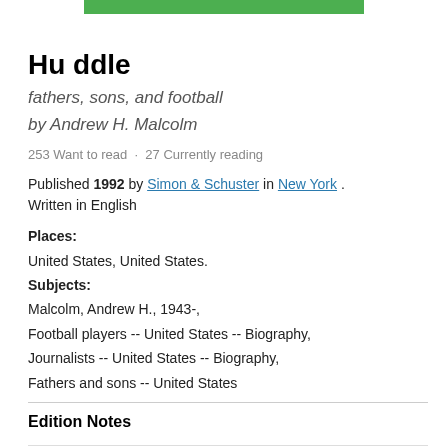[Figure (other): Green horizontal bar at top center of page]
Hu ddle
fathers, sons, and football
by Andrew H. Malcolm
253 Want to read · 27 Currently reading
Published 1992 by Simon & Schuster in New York . Written in English
Places:
United States, United States.
Subjects:
Malcolm, Andrew H., 1943-,
Football players -- United States -- Biography,
Journalists -- United States -- Biography,
Fathers and sons -- United States
Edition Notes
| Statement |  |
| --- | --- |
| Statement | Andrew H. Malcolm. |
Classifications